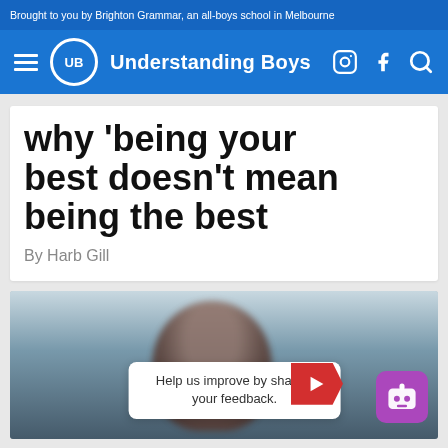Brought to you by Brighton Grammar, an all-boys school in Melbourne
[Figure (logo): Understanding Boys website navigation bar with hamburger menu, UB logo circle, site title, and Instagram/Facebook/Search icons]
Why 'being your best' doesn't mean being the best
By Harb Gill
[Figure (photo): A boy looking down, blurred background, with a feedback popup overlay reading 'Help us improve by sharing your feedback.' and a red arrow badge and purple chat bot icon]